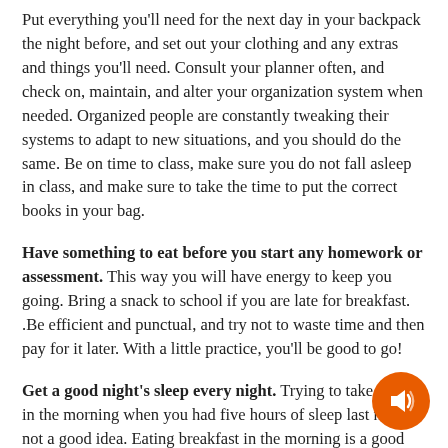Put everything you'll need for the next day in your backpack the night before, and set out your clothing and any extras and things you'll need. Consult your planner often, and check on, maintain, and alter your organization system when needed. Organized people are constantly tweaking their systems to adapt to new situations, and you should do the same. Be on time to class, make sure you do not fall asleep in class, and make sure to take the time to put the correct books in your bag.
Have something to eat before you start any homework or assessment. This way you will have energy to keep you going. Bring a snack to school if you are late for breakfast. .Be efficient and punctual, and try not to waste time and then pay for it later. With a little practice, you'll be good to go!
Get a good night's sleep every night. Trying to take a test in the morning when you had five hours of sleep last night is not a good idea. Eating breakfast in the morning is a good idea. If you're not a breakfast fan, take a small snack with you in